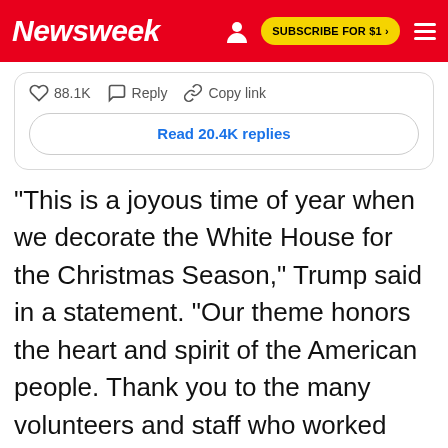Newsweek
88.1K  Reply  Copy link
Read 20.4K replies
"This is a joyous time of year when we decorate the White House for the Christmas Season," Trump said in a statement. "Our theme honors the heart and spirit of the American people. Thank you to the many volunteers and staff who worked hard to decorate the halls of the People's House in Christmas cheer. On behalf of my family, we wish everyone a very Merry Christmas and a